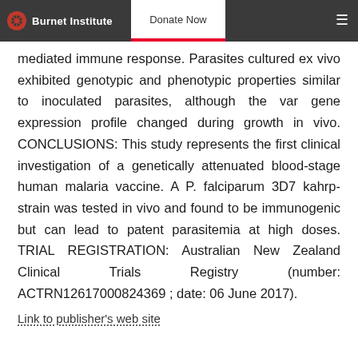Burnet Institute | Donate Now
mediated immune response. Parasites cultured ex vivo exhibited genotypic and phenotypic properties similar to inoculated parasites, although the var gene expression profile changed during growth in vivo. CONCLUSIONS: This study represents the first clinical investigation of a genetically attenuated blood-stage human malaria vaccine. A P. falciparum 3D7 kahrp- strain was tested in vivo and found to be immunogenic but can lead to patent parasitemia at high doses. TRIAL REGISTRATION: Australian New Zealand Clinical Trials Registry (number: ACTRN12617000824369 ; date: 06 June 2017).
Link to publisher's web site